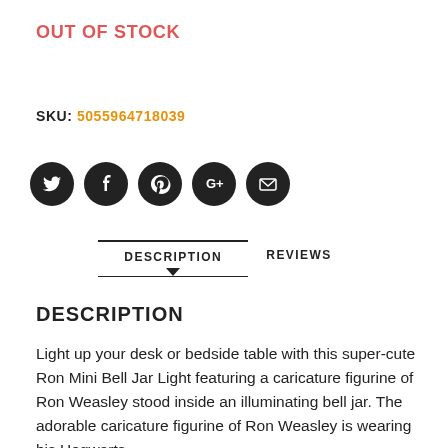OUT OF STOCK
SKU: 5055964718039
[Figure (other): Five social media icon circles (Twitter, Facebook, Pinterest, Google+, Email) in dark/black circular buttons]
DESCRIPTION | REVIEWS (tab bar with underline and arrow)
DESCRIPTION
Light up your desk or bedside table with this super-cute Ron Mini Bell Jar Light featuring a caricature figurine of Ron Weasley stood inside an illuminating bell jar. The adorable caricature figurine of Ron Weasley is wearing his Hogwarts